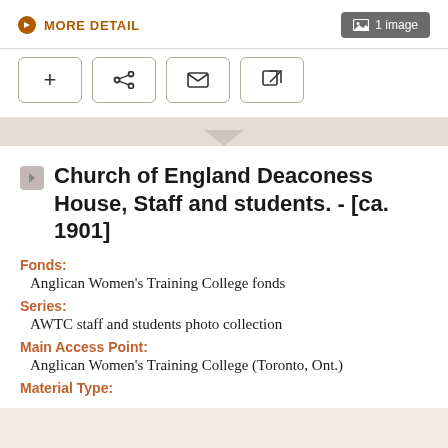MORE DETAIL
1 image
[Figure (screenshot): Toolbar with four buttons: plus, share, envelope, and external link icons]
Church of England Deaconess House, Staff and students. - [ca. 1901]
Fonds:
Anglican Women's Training College fonds
Series:
AWTC staff and students photo collection
Main Access Point:
Anglican Women's Training College (Toronto, Ont.)
Material Type: